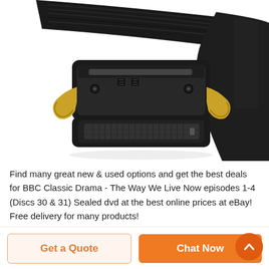[Figure (photo): Close-up photo of a black tactical belt with a metal quick-release buckle featuring gold prongs, on a white background]
Find many great new & used options and get the best deals for BBC Classic Drama - The Way We Live Now episodes 1-4 (Discs 30 & 31) Sealed dvd at the best online prices at eBay! Free delivery for many products! Skip to main content. Shop by category. Shop by cate...